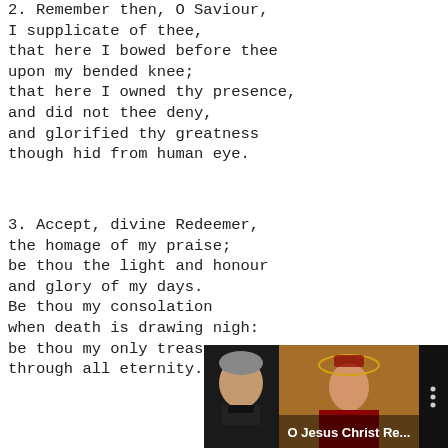2. Remember then, O Saviour,
I supplicate of thee,
that here I bowed before thee
upon my bended knee;
that here I owned thy presence,
and did not thee deny,
and glorified thy greatness
though hid from human eye.
3. Accept, divine Redeemer,
the homage of my praise;
be thou the light and honour
and glory of my days.
Be thou my consolation
when death is drawing nigh:
be thou my only treasure
through all eternity.
[Figure (screenshot): Video thumbnail showing a man in clerical collar on the left, an image of Jesus Christ in the center with text 'O Jesus Christ Re...' and a vertical three-dot menu icon on the right, against a dark background.]